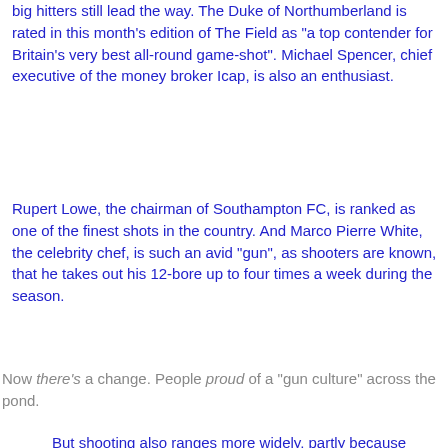big hitters still lead the way. The Duke of Northumberland is rated in this month's edition of The Field as "a top contender for Britain's very best all-round game-shot". Michael Spencer, chief executive of the money broker Icap, is also an enthusiast.
Rupert Lowe, the chairman of Southampton FC, is ranked as one of the finest shots in the country. And Marco Pierre White, the celebrity chef, is such an avid "gun", as shooters are known, that he takes out his 12-bore up to four times a week during the season.
Now there's a change. People proud of a "gun culture" across the pond.
But shooting also ranges more widely, partly because farmers have diversified in search of new sources of income.
"Often renting land to a syndicate can be very profitable for them," said Griffins, "as there are